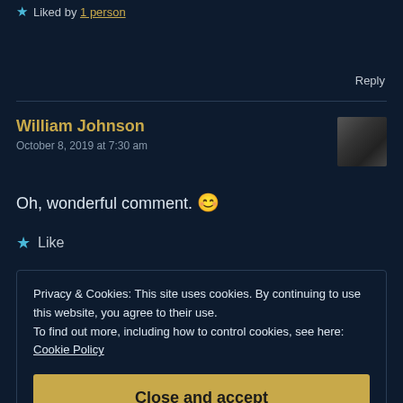★ Liked by 1 person
Reply
William Johnson
October 8, 2019 at 7:30 am
Oh, wonderful comment. 😊
★ Like
Privacy & Cookies: This site uses cookies. By continuing to use this website, you agree to their use.
To find out more, including how to control cookies, see here: Cookie Policy
Close and accept